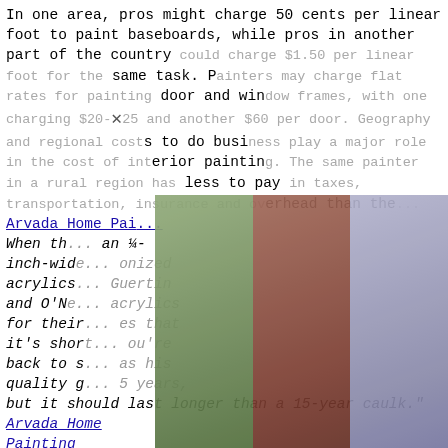In one area, pros might charge 50 cents per linear foot to paint baseboards, while pros in another part of the country could charge $1.50 per linear foot for the same task. Painters may charge flat rates for painting door and window frames, with one charging $20-$25 and another $60 per door. Geography and regional costs to do business play a major role in the cost of interior painting. The same painter in a rural region has less to pay in taxes, transportation, insurance and overhead than the... Arvada Home Pai...
[Figure (photo): Three photos side by side showing painters working on exterior house painting, using ladders. Left: person on ladder against grey-sided house, Middle: person on ladder on brick house, Right: person leaping/jumping near interior scaffolding.]
When th... an ¼-inch-wide... onized acrylics... Guertin and O'Ne... acrylics for their... es that it's short... ou're back to s... as his quality g... 5 years, but it should last longer than a 15-year caulk." Arvada Home Painting
Most of a projects price is the cost of labor at $25 to $75 per hour. However, most contractors bid out based on the entire project which includes all work hours. Hourly rates are only useful if your pro asks to do the job as "time and materials."